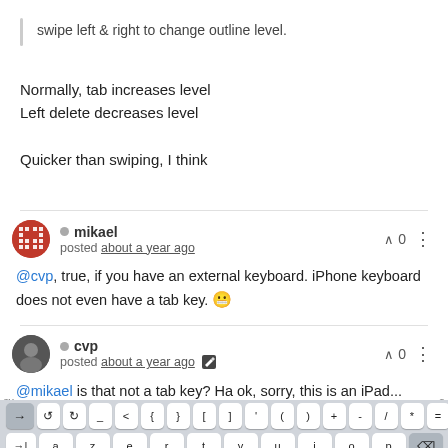swipe left & right to change outline level.
Normally, tab increases level
Left delete decreases level

Quicker than swiping, I think
mikael
posted about a year ago

@cvp, true, if you have an external keyboard. iPhone keyboard does not even have a tab key. 😬
cvp
posted about a year ago

@mikael is that not a tab key? Ha ok, sorry, this is an iPad...
[Figure (screenshot): On-screen keyboard showing a row of special characters (→, undo, redo, _, <, {, }, [, ], ', (, ), +, -, /, *, =, :) and a row of letters (a, z, e, r, t, y, u, i, o, p) with tab key on left and delete key on right.]